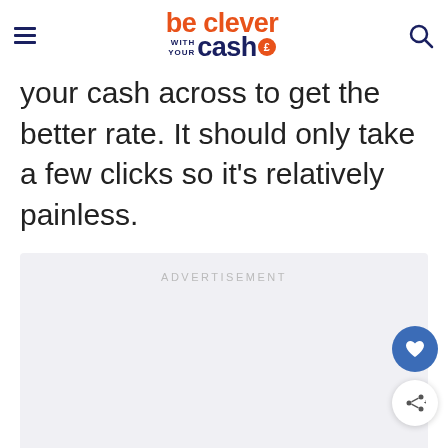be clever with your cash
your cash across to get the better rate. It should only take a few clicks so it’s relatively painless.
[Figure (other): Advertisement placeholder box with text 'ADVERTISEMENT']